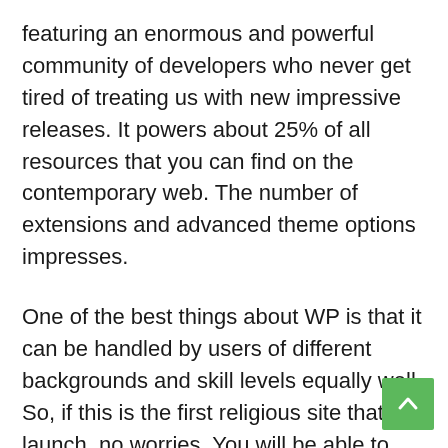featuring an enormous and powerful community of developers who never get tired of treating us with new impressive releases. It powers about 25% of all resources that you can find on the contemporary web. The number of extensions and advanced theme options impresses.
One of the best things about WP is that it can be handled by users of different backgrounds and skill levels equally well. So, if this is the first religious site that you launch, no worries. You will be able to handle it by yourself. Just in case you have any questions regarding installation or customization of the chosen theme, 24/7 support from TemplateMonster is always ready to come for help.